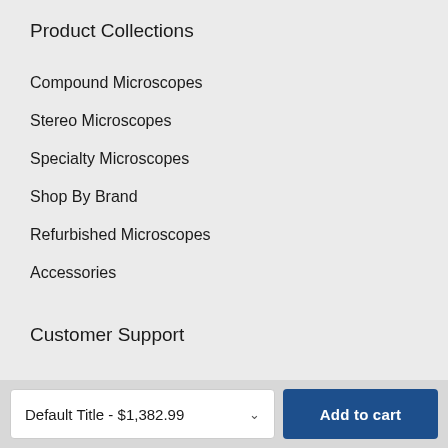Product Collections
Compound Microscopes
Stereo Microscopes
Specialty Microscopes
Shop By Brand
Refurbished Microscopes
Accessories
Customer Support
About Us
Service & Repairs
Trade-Ins
Default Title - $1,382.99
Add to cart